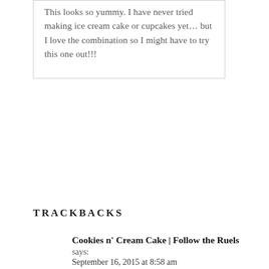This looks so yummy. I have never tried making ice cream cake or cupcakes yet... but I love the combination so I might have to try this one out!!!
TRACKBACKS
Cookies n' Cream Cake | Follow the Ruels
says:
September 16, 2015 at 8:58 am
[...] couple years ago I made him Cookies n' Cream ice cream cupcakes to bring his love of cookies n' cream ice cream to a cake (with a lot less hassle). And [...]